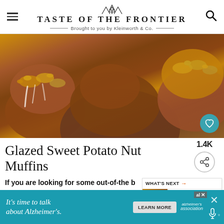TASTE OF THE FRONTIER — Brought to you by Kleinworth & Co.
[Figure (photo): Close-up photo of glazed sweet potato nut muffins with white glaze drizzle and chopped walnuts on top, warm brown color tones]
Glazed Sweet Potato Nut Muffins
If you are looking for some out-of-the b… sweet potatoes…
[Figure (photo): Small thumbnail image of Sweet Potato Breakfast recipe for What's Next panel]
WHAT'S NEXT → Sweet Potato Breakfast...
[Figure (infographic): Advertisement banner: It's time to talk about Alzheimer's. LEARN MORE — Alzheimer's Association logo]